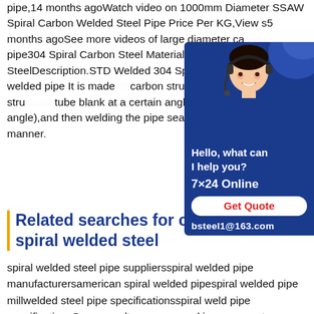pipe,14 months agoWatch video on 1000mm Diameter SSAW Spiral Carbon Welded Steel Pipe Price Per KG,View s5 months agoSee more videos of large diameter carbon pipe304 Spiral Carbon Steel Material welded SteelDescription.STD Welded 304 Spiral Description Spiral welded pipe It is made of carbon structural steel or a low alloy structural tube blank at a certain angle of a helix (certain angle),and then welding the pipe seam,which narrower manner.
[Figure (photo): Customer service advertisement with a woman wearing a headset, blue background. Shows 'Hello, what can I help you?', '7x24 Online', 'Get Quote' button in red, and 'bsteel1@163.com' email.]
Related searches for china spiral welded steel
spiral welded steel pipe suppliersspiral welded pipe manufacturersamerican spiral welded pipespiral welded pipe millwelded steel pipe specificationsspiral weld pipe specificationsSome results are removed in response to a notice of